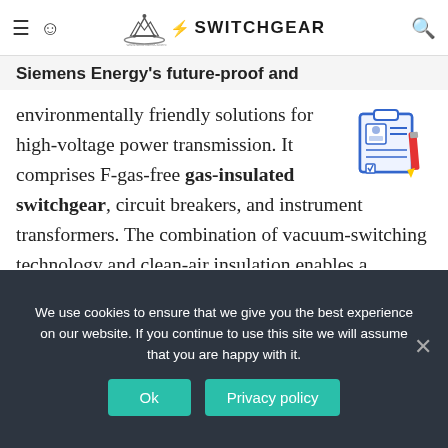SwitchGear website navigation bar with hamburger menu, user icon, SwitchGear logo, and search icon
Siemens Energy's future-proof and environmentally friendly solutions for high-voltage power transmission
environmentally friendly solutions for high-voltage power transmission. It comprises F-gas-free gas-insulated switchgear, circuit breakers, and instrument transformers. The combination of vacuum-switching technology and clean-air insulation enables a significant reduction of emissions while the lifetime of the products can also be increased. While circuit breakers that use clean-air and vacuum-switching technology have been available for at least 15 years for voltage levels up to 72.5 kV, the outstanding technical performance and low lifecycle costs also make it a
[Figure (illustration): Clipboard/document with ID card icon and red pencil illustration]
We use cookies to ensure that we give you the best experience on our website. If you continue to use this site we will assume that you are happy with it.
Ok | Privacy policy